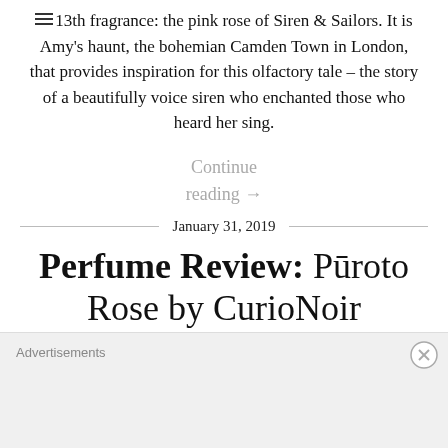13th fragrance: the pink rose of Siren & Sailors. It is Amy's haunt, the bohemian Camden Town in London, that provides inspiration for this olfactory tale – the story of a beautifully voice siren who enchanted those who heard her sing.
Continue reading →
January 31, 2019
Perfume Review: Pūroto Rose by CurioNoir
Advertisements